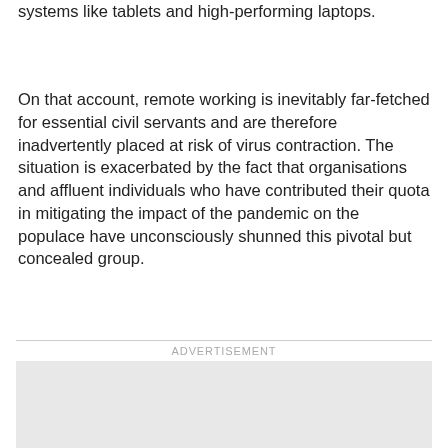systems like tablets and high-performing laptops.
On that account, remote working is inevitably far-fetched for essential civil servants and are therefore inadvertently placed at risk of virus contraction. The situation is exacerbated by the fact that organisations and affluent individuals who have contributed their quota in mitigating the impact of the pandemic on the populace have unconsciously shunned this pivotal but concealed group.
ADVERTISEMENT
[Figure (other): Advertisement placeholder box (empty grey rectangle)]